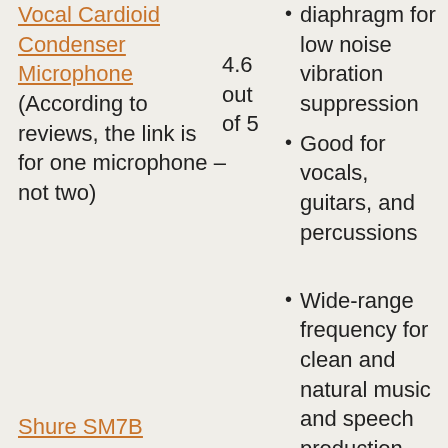Vocal Cardioid Condenser Microphone (According to reviews, the link is for one microphone – not two)
4.6 out of 5
diaphragm for low noise vibration suppression
Good for vocals, guitars, and percussions
Wide-range frequency for clean and natural music and speech production
Rejection of electromagnetic
Shure SM7B